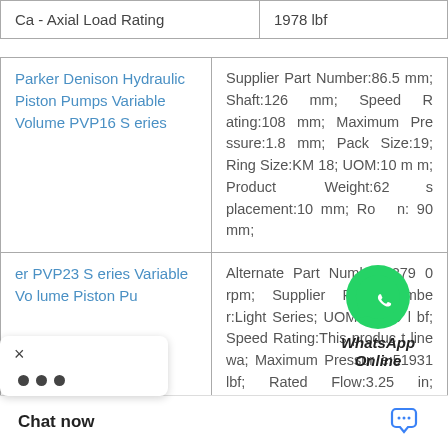|  |  |
| --- | --- |
| Ca - Axial Load Rating | 1978 lbf |
| Product | Specifications |
| --- | --- |
| Parker Denison Hydraulic Piston Pumps Variable Volume PVP16 Series | Supplier Part Number:86.5 mm; Shaft:126 mm; Speed Rating:108 mm; Maximum Pressure:1.8 mm; Pack Size:19; Ring Size:KM 18; UOM:10 mm; Product Weight:62; placement:10 mm; Ro...:90 mm; |
| ...er PVP23 S...Variable Volume Piston Pu... | Alternate Part Numbers:2790 rpm; Supplier Part Number:Light Series; UOM:42039 lbf; Speed Rating:This product line wa; Maximum Pressure:51931 lbf; Rated Flow:3.25 in; Displacement:7.0 in; Shaf...oduct Weight:3.0 i...:1.5 - 6 UNC; Bear |